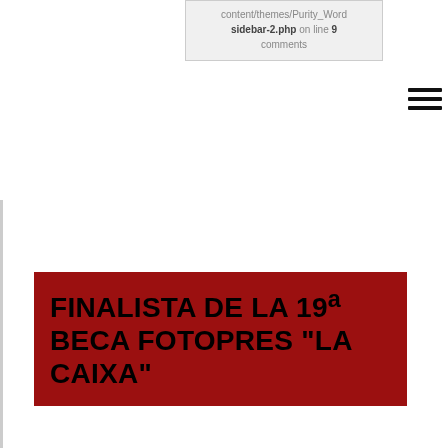content/themes/Purity_Word sidebar-2.php on line 9 comments
[Figure (other): Hamburger menu icon — three horizontal black bars]
FINALISTA DE LA 19ª BECA FOTOPRES “LA CAIXA”